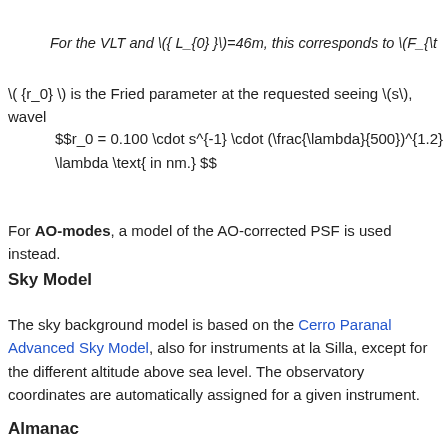For the VLT and \({ L_{0} }\)=46m, this corresponds to \(F_{\t
\( {r_0} \) is the Fried parameter at the requested seeing \(s\), wavel
For AO-modes, a model of the AO-corrected PSF is used instead.
Sky Model
The sky background model is based on the Cerro Paranal Advanced Sky Model, also for instruments at la Silla, except for the different altitude above sea level. The observatory coordinates are automatically assigned for a given instrument.
Almanac